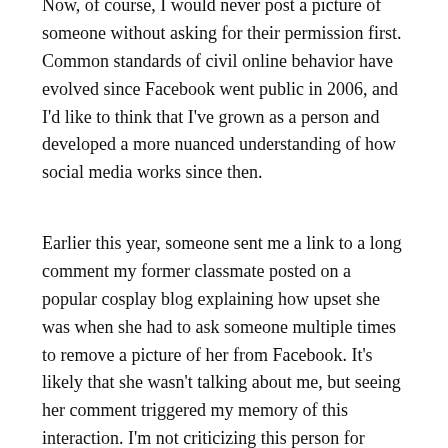Now, of course, I would never post a picture of someone without asking for their permission first. Common standards of civil online behavior have evolved since Facebook went public in 2006, and I'd like to think that I've grown as a person and developed a more nuanced understanding of how social media works since then.
Earlier this year, someone sent me a link to a long comment my former classmate posted on a popular cosplay blog explaining how upset she was when she had to ask someone multiple times to remove a picture of her from Facebook. It's likely that she wasn't talking about me, but seeing her comment triggered my memory of this interaction. I'm not criticizing this person for